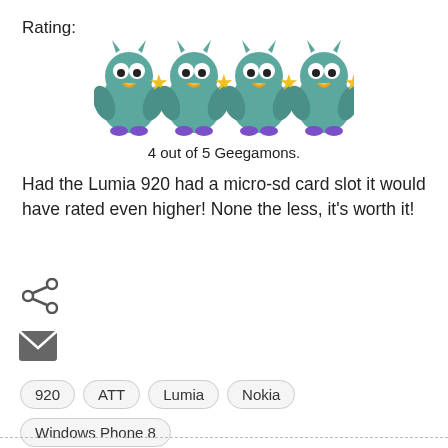Rating:
[Figure (illustration): Four cartoon Geegamon characters (teal/green bird-like creatures) each with a yellow star, arranged in a row as a rating display]
4 out of 5 Geegamons.
Had the Lumia 920 had a micro-sd card slot it would have rated even higher! None the less, it's worth it!
[Figure (illustration): Share icon (less-than sign with dots)]
[Figure (illustration): Email/mail icon (envelope shape)]
920
ATT
Lumia
Nokia
Windows Phone 8